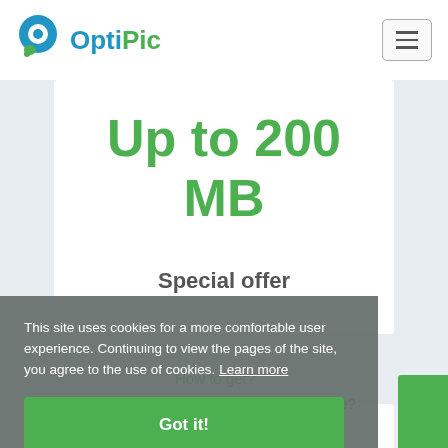[Figure (logo): OptiPic logo with blue circular icon and green 'Pic' text]
Up to 200 MB
Special offer
This site uses cookies for a more comfortable user experience. Continuing to view the pages of the site, you agree to the use of cookies. Learn more
Got it!
How to get?
How to choose a package?